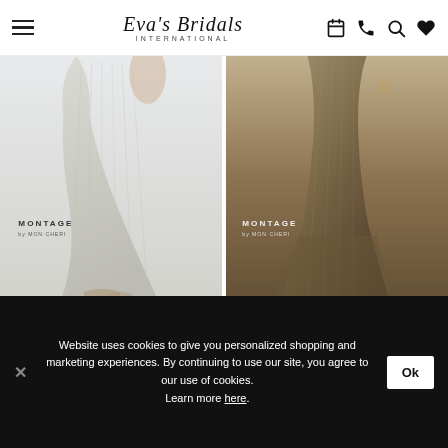Eva's Bridals International
[Figure (photo): Two Montage by Mon Cheri formal gowns — left: silver/ivory flowing gown, right: dark bronze/gold mermaid gown. Both photos cropped to show lower half of garment.]
Montage
Montage
Website uses cookies to give you personalized shopping and marketing experiences. By continuing to use our site, you agree to our use of cookies. Learn more here.